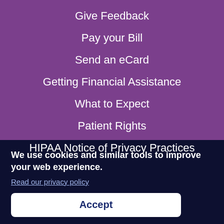Give Feedback
Pay your Bill
Send an eCard
Getting Financial Assistance
What to Expect
Patient Rights
HIPAA Notice of Privacy Practices
We use cookies and similar tools to improve your web experience.
Read our privacy policy
Accept